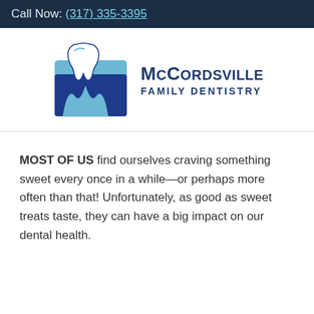Call Now: (317) 335-3395
[Figure (logo): McCordsville Family Dentistry logo — a blue square with a stylized W and a tooth graphic, beside the text 'McCordsville Family Dentistry']
MOST OF US find ourselves craving something sweet every once in a while—or perhaps more often than that! Unfortunately, as good as sweet treats taste, they can have a big impact on our dental health.